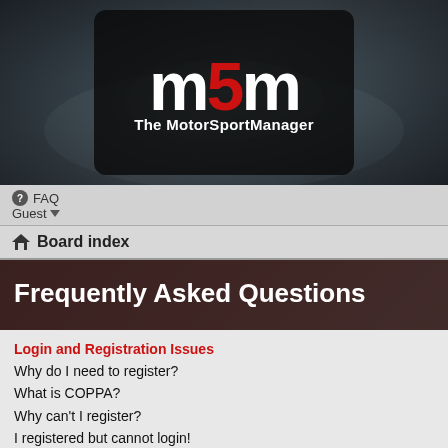[Figure (logo): MSM - The MotorSportManager logo on dark background with blurred car interior]
FAQ  Guest
Board index
Frequently Asked Questions
Login and Registration Issues
Why do I need to register?
What is COPPA?
Why can't I register?
I registered but cannot login!
Why can't I login?
I registered in the past but cannot login any more?!
I've lost my password!
Why do I get logged off automatically?
What does the "Delete all board cookies" do?